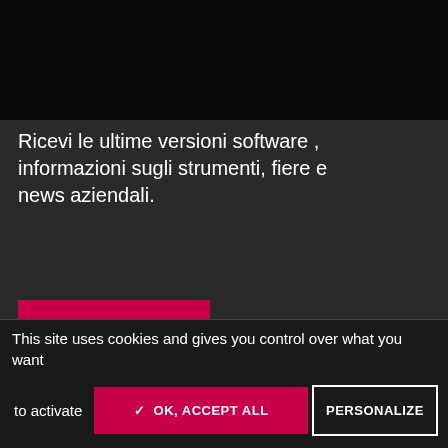Ricevi le ultime versioni software , informazioni sugli strumenti, fiere e news aziendali.
SOTTOSCRIVI
This site uses cookies and gives you control over what you want to activate
✓ OK, ACCEPT ALL
PERSONALIZE